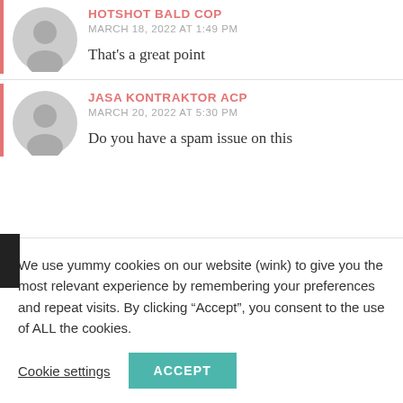HOTSHOT BALD COP
MARCH 18, 2022 AT 1:49 PM
That's a great point
JASA KONTRAKTOR ACP
MARCH 20, 2022 AT 5:30 PM
Do you have a spam issue on this
We use yummy cookies on our website (wink) to give you the most relevant experience by remembering your preferences and repeat visits. By clicking “Accept”, you consent to the use of ALL the cookies.
Cookie settings
ACCEPT